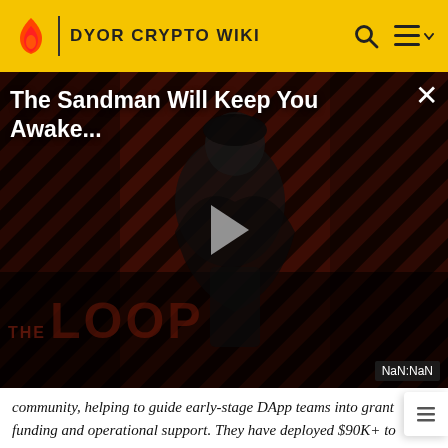DYOR CRYPTO WIKI
[Figure (screenshot): Video thumbnail showing a dark figure against diagonal red/black stripes with title 'The Sandman Will Keep You Awake...' and a play button. Bottom shows 'THE LOOP' watermark and a NaN:NaN time display.]
community, helping to guide early-stage DApp teams into grant funding and operational support. They have deployed $90K+ to over 23 DApps since July 2019.
MetaCartel's mission is "to accelerate the creation of Web 3 with the belief that it will make the world a richer, freer..."